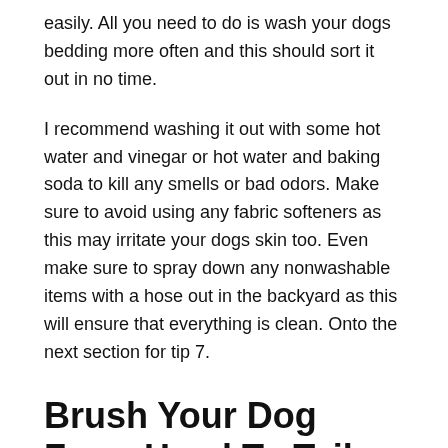easily. All you need to do is wash your dogs bedding more often and this should sort it out in no time.
I recommend washing it out with some hot water and vinegar or hot water and baking soda to kill any smells or bad odors. Make sure to avoid using any fabric softeners as this may irritate your dogs skin too. Even make sure to spray down any nonwashable items with a hose out in the backyard as this will ensure that everything is clean. Onto the next section for tip 7.
Brush Your Dog From Head To Tail
Ok, now that youve prepared your Golden for grooming, start brushing him from head to tail. Makes sure you cover all the